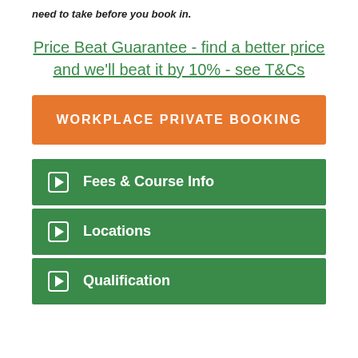need to take before you book in.
Price Beat Guarantee - find a better price and we'll beat it by 10% - see T&Cs
WORKPLACE PRIVATE BOOKING
Fees & Course Info
Locations
Qualification